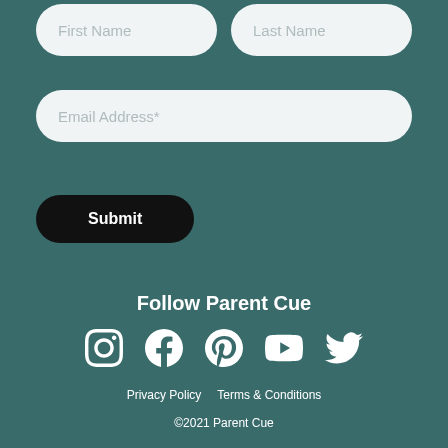First Name
Last Name
Email Address*
Submit
Follow Parent Cue
[Figure (illustration): Social media icons: Instagram, Facebook, Pinterest, YouTube, Twitter]
Privacy Policy   Terms & Conditions
©2021 Parent Cue